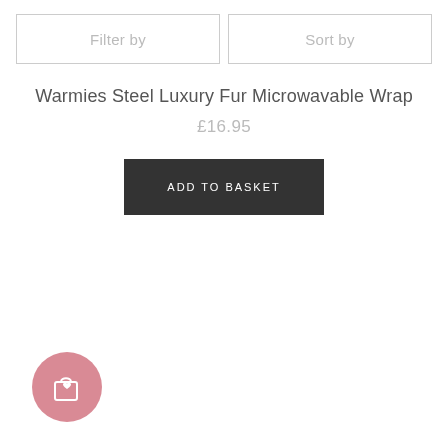[Figure (screenshot): Filter by button (outlined rectangle)]
[Figure (screenshot): Sort by button (outlined rectangle)]
Warmies Steel Luxury Fur Microwavable Wrap
£16.95
ADD TO BASKET
[Figure (illustration): Pink circular basket/wishlist icon in the bottom left corner]